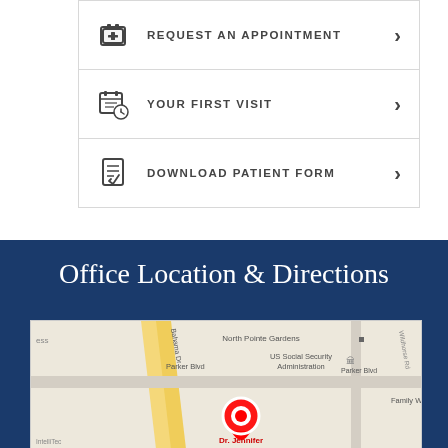REQUEST AN APPOINTMENT
YOUR FIRST VISIT
DOWNLOAD PATIENT FORM
Office Location & Directions
[Figure (map): Google Maps view showing office location for Dr. Jennifer Fitzpatrick MD near Parker Blvd, with surrounding streets including Bahama Dr, North Pointe Gardens, US Social Security Administration, Family Worship Center, and a red location pin marker]